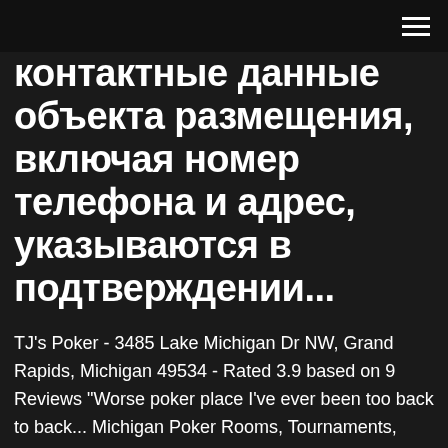контактные данные объекта размещения, включая номер телефона и адрес, указываются в подтверждении...
TJ's Poker - 3485 Lake Michigan Dr NW, Grand Rapids, Michigan 49534 - Rated 3.9 based on 9 Reviews "Worse poker place I've ever been too back to back... Michigan Poker Rooms, Tournaments, Reviews and Community ... Michigan residents are blessed with the availability of more than 15 poker rooms. The state's poker action can be roughly summarized as being divided into three concentrations, with pockets of play in the Upper Peninsula,